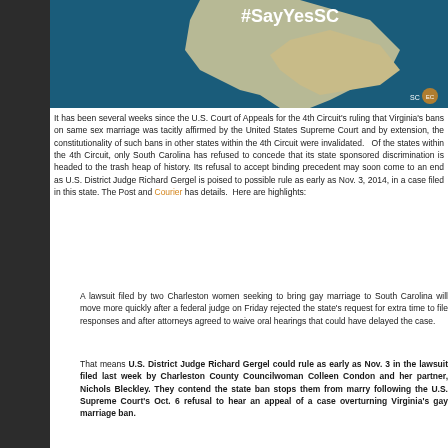[Figure (infographic): Map of South Carolina region with '#SayYesSC' hashtag text and teal/blue background with beige map overlay. SC logo in bottom right.]
It has been several weeks since the U.S. Court of Appeals for the 4th Circuit's ruling that Virginia's bans on same sex marriage was tacitly affirmed by the United States Supreme Court and by extension, the constitutionality of such bans in other states within the 4th Circuit were invalidated. Of the states within the 4th Circuit, only South Carolina has refused to concede that its state sponsored discrimination is headed to the trash heap of history. Its refusal to accept binding precedent may soon come to an end as U.S. District Judge Richard Gergel is poised to possible rule as early as Nov. 3, 2014, in a case filed in this state. The Post and Courier has details. Here are highlights:
A lawsuit filed by two Charleston women seeking to bring gay marriage to South Carolina will move more quickly after a federal judge on Friday rejected the state's request for extra time to file responses and after attorneys agreed to waive oral hearings that could have delayed the case.
That means U.S. District Judge Richard Gergel could rule as early as Nov. 3 in the lawsuit filed last week by Charleston County Councilwoman Colleen Condon and her partner, Nichols Bleckley. They contend the state ban stops them from marry following the U.S. Supreme Court's Oct. 6 refusal to hear an appeal of a case overturning Virginia's gay marriage ban.